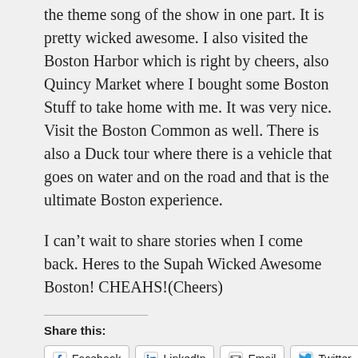the theme song of the show in one part. It is pretty wicked awesome. I also visited the Boston Harbor which is right by cheers, also Quincy Market where I bought some Boston Stuff to take home with me. It was very nice. Visit the Boston Common as well. There is also a Duck tour where there is a vehicle that goes on water and on the road and that is the ultimate Boston experience.
I can't wait to share stories when I come back. Heres to the Supah Wicked Awesome Boston! CHEAHS!(Cheers)
Share this:
Facebook · LinkedIn · Email · Twitter · Pinterest · Tumblr · Print · Reddit · Pocket
22 bloggers like this